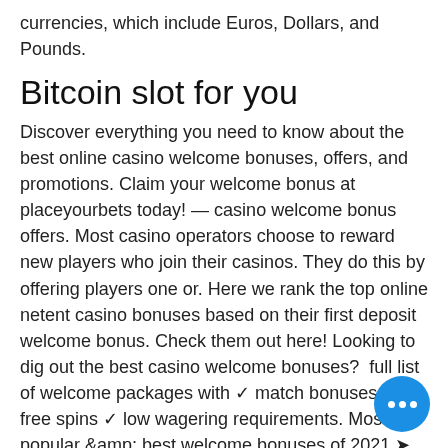currencies, which include Euros, Dollars, and Pounds.
Bitcoin slot for you
Discover everything you need to know about the best online casino welcome bonuses, offers, and promotions. Claim your welcome bonus at placeyourbets today! — casino welcome bonus offers. Most casino operators choose to reward new players who join their casinos. They do this by offering players one or. Here we rank the top online netent casino bonuses based on their first deposit welcome bonus. Check them out here! Looking to dig out the best casino welcome bonuses?  full list of welcome packages with ✓ match bonuses ✓ free spins ✓ low wagering requirements. Most popular &amp; best welcome bonuses of 2021 ➤ ranked &amp; reviewed ➤claim favorite bonus here &amp; win big! Cur welcome bonus is a sports betting bonus of